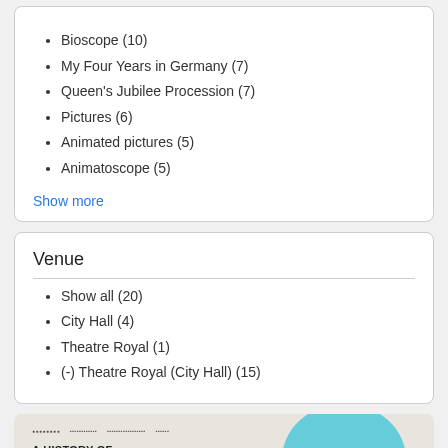Bioscope (10)
My Four Years in Germany (7)
Queen's Jubilee Procession (7)
Pictures (6)
Animated pictures (5)
Animatoscope (5)
Show more
Venue
Show all (20)
City Hall (4)
Theatre Royal (1)
(-) Theatre Royal (City Hall) (15)
[Figure (illustration): Banner for 'A History of Film Exhibition and Reception in Colonial Hong Kong 1897-1925' with Chinese subtitle text, architectural imagery with teal dome and building sketch, and a dark circular badge.]